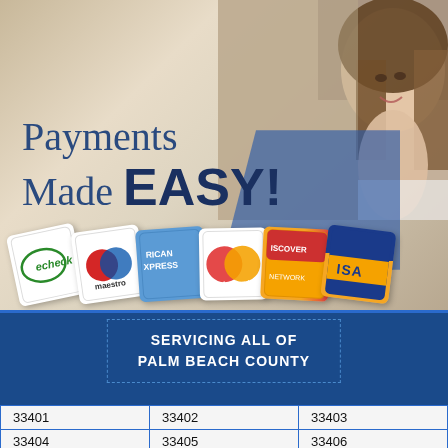[Figure (infographic): Promotional banner image of a smiling young woman in background, fanned payment method cards (echeck, Maestro, American Express, MasterCard, Discover, Visa) displayed in foreground, with text 'Payments Made EASY!' overlaid on a beige/tan background with a blue diagonal accent shape.]
Payments Made EASY!
SERVICING ALL OF PALM BEACH COUNTY
| 33401 | 33402 | 33403 |
| 33404 | 33405 | 33406 |